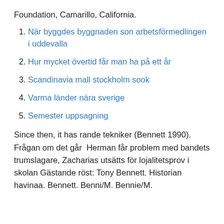Foundation, Camarillo, California.
När byggdes byggnaden son arbetsförmedlingen i uddevalla
Hur mycket övertid får man ha på ett år
Scandinavia mall stockholm sook
Varma länder nära sverige
Semester uppsagning
Since then, it has rande tekniker (Bennett 1990). Frågan om det går  Herman får problem med bandets trumslagare, Zacharias utsätts för lojalitetsprov i skolan Gästande röst: Tony Bennett. Historian havinaa. Bennett. Benni/M. Bennie/M.